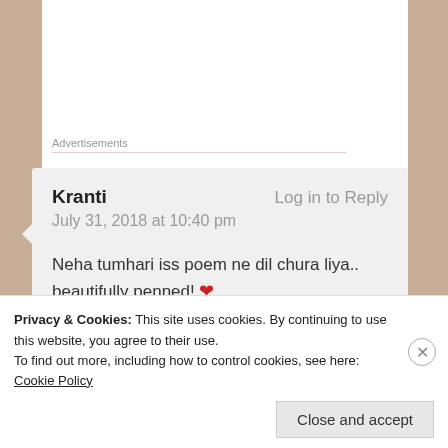Advertisements
Kranti
July 31, 2018 at 10:40 pm

Neha tumhari iss poem ne dil chura liya.. beautifully penned! ❤

★ Liked by 1 person
Log in to Reply
Privacy & Cookies: This site uses cookies. By continuing to use this website, you agree to their use.
To find out more, including how to control cookies, see here: Cookie Policy
Close and accept